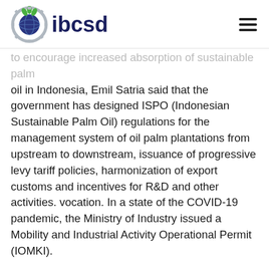ibcsd
to encourage increased absorption of sustainable palm oil in Indonesia, Emil Satria said that the government has designed ISPO (Indonesian Sustainable Palm Oil) regulations for the management system of oil palm plantations from upstream to downstream, issuance of progressive levy tariff policies, harmonization of export customs and incentives for R&D and other activities. vocation. In a state of the COVID-19 pandemic, the Ministry of Industry issued a Mobility and Industrial Activity Operational Permit (IOMKI).
The palm oil industry sector both upstream and downstream has remained high-performing during this pandemic. In the upstream sector, the price of CPO which has declined from the beginning of the...